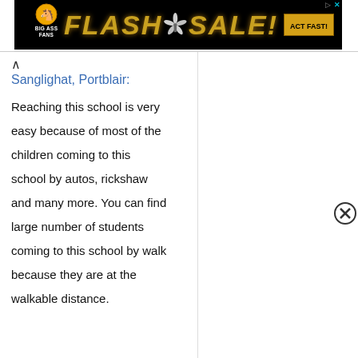[Figure (photo): Big Ass Fans flash sale advertisement banner — black background with gold stylized text 'FLASH SALE!' with a ceiling fan image in the center, Big Ass Fans logo on left, 'ACT FAST!' button on right]
Sanglighat, Portblair:
Reaching this school is very easy because of most of the children coming to this school by autos, rickshaw and many more. You can find large number of students coming to this school by walk because they are at the walkable distance.